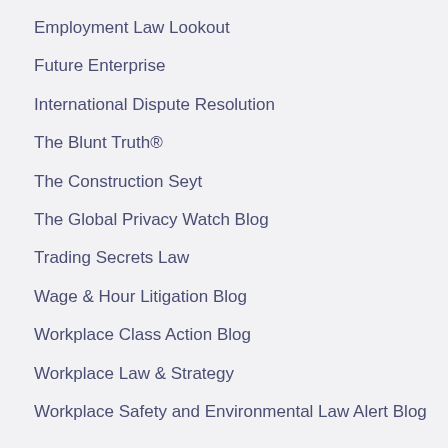Employment Law Lookout
Future Enterprise
International Dispute Resolution
The Blunt Truth®
The Construction Seyt
The Global Privacy Watch Blog
Trading Secrets Law
Wage & Hour Litigation Blog
Workplace Class Action Blog
Workplace Law & Strategy
Workplace Safety and Environmental Law Alert Blog